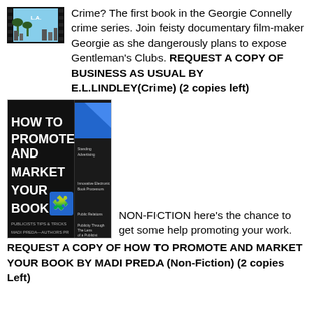[Figure (photo): Book cover thumbnail for a crime novel set in L.A., showing a filmstrip-style image of palm trees and city.]
Crime? The first book in the Georgie Connelly crime series. Join feisty documentary film-maker Georgie as she dangerously plans to expose Gentleman's Clubs. REQUEST A COPY OF BUSINESS AS USUAL BY E.L.LINDLEY(Crime) (2 copies left)
[Figure (photo): Book cover for 'How to Promote and Market Your Book' by Madi Preda — Authors PR. Black cover with bold white text and a blue puzzle piece graphic.]
NON-FICTION here's the chance to get some help promoting your work. REQUEST A COPY OF HOW TO PROMOTE AND MARKET YOUR BOOK BY MADI PREDA (Non-Fiction) (2 copies Left)